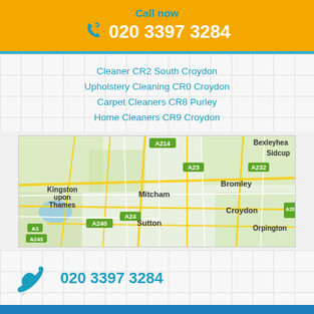Call now 020 3397 3284
Cleaner CR2 South Croydon
Upholstery Cleaning CR0 Croydon
Carpet Cleaners CR8 Purley
Home Cleaners CR9 Croydon
[Figure (map): Google Maps view showing South London area including Kingston upon Thames, Mitcham, Sutton, Croydon, Bromley, Orpington, Sidcup, Bexleyheath with road labels A214, A23, A24, A240, A3, A243, A232, A20]
020 3397 3284
GET A CLEANING QUOTE